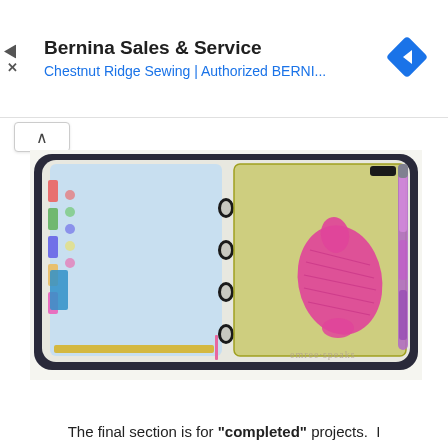[Figure (screenshot): Advertisement banner for Bernina Sales & Service - Chestnut Ridge Sewing | Authorized BERNI... with navigation arrow diamond icon on right and play/close icons on left]
[Figure (photo): Open binder/planner lying on white surface. Left side has blue/light colored pages with colorful tabs and labels. Center has black ring binders. Right side has a clear yellow/olive pocket page containing a pink knitted or crocheted object (looks like a small bird or animal shape) and a purple/pink pen with glitter. A watermark reads 'emree speaks' in the bottom right.]
The final section is for "completed" projects.  I